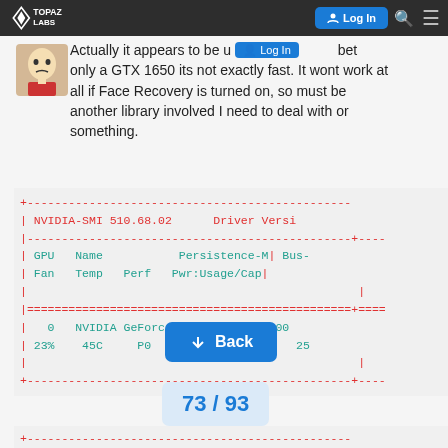Topaz Labs — Log In
Actually it appears to be using the GPU but since its only a GTX 1650 its not exactly fast. It wont work at all if Face Recovery is turned on, so must be another library involved I need to deal with or something.
[Figure (screenshot): NVIDIA-SMI terminal output showing GPU 0 NVIDIA GeForce, Persistence-M Off, Bus-Id 0000, Fan 23%, Temp 45C, Perf P0, Pwr 74W/75W]
[Figure (screenshot): NVIDIA-SMI terminal output showing Processes section]
73 / 93